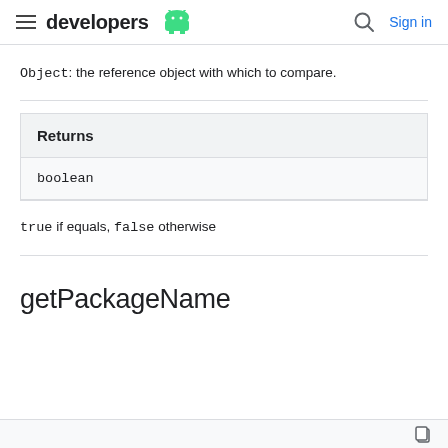developers [android logo] | [search] Sign in
Object: the reference object with which to compare.
| Returns |
| --- |
| boolean |
true if equals, false otherwise
getPackageName